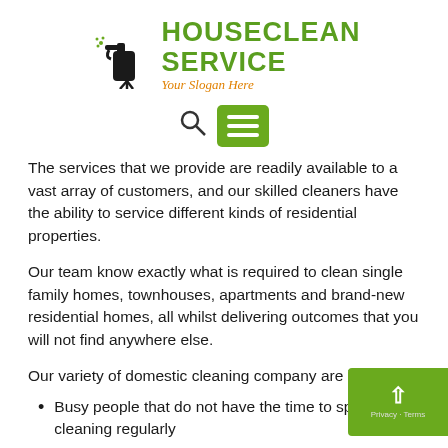[Figure (logo): HouseClean Service logo with cleaning equipment icon, green bold text 'HOUSECLEAN SERVICE' and orange italic slogan 'Your Slogan Here']
[Figure (screenshot): Navigation bar with search icon and green hamburger menu button]
The services that we provide are readily available to a vast array of customers, and our skilled cleaners have the ability to service different kinds of residential properties.
Our team know exactly what is required to clean single family homes, townhouses, apartments and brand-new residential homes, all whilst delivering outcomes that you will not find anywhere else.
Our variety of domestic cleaning company are ideal for:
Busy people that do not have the time to spend cleaning regularly
Those that would like that bit of help on a regu...